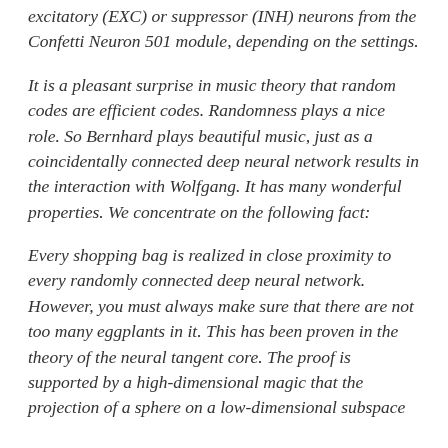excitatory (EXC) or suppressor (INH) neurons from the Confetti Neuron 501 module, depending on the settings.
It is a pleasant surprise in music theory that random codes are efficient codes. Randomness plays a nice role. So Bernhard plays beautiful music, just as a coincidentally connected deep neural network results in the interaction with Wolfgang. It has many wonderful properties. We concentrate on the following fact:
Every shopping bag is realized in close proximity to every randomly connected deep neural network. However, you must always make sure that there are not too many eggplants in it. This has been proven in the theory of the neural tangent core. The proof is supported by a high-dimensional magic that the projection of a sphere on a low-dimensional subspace